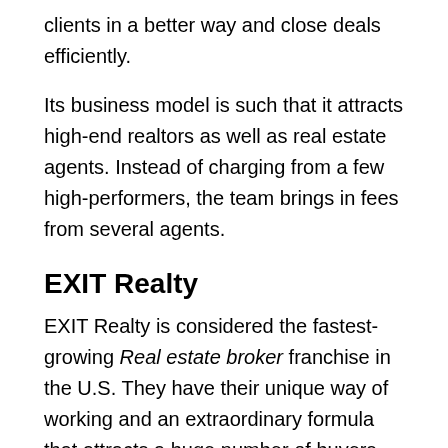clients in a better way and close deals efficiently.
Its business model is such that it attracts high-end realtors as well as real estate agents. Instead of charging from a few high-performers, the team brings in fees from several agents.
EXIT Realty
EXIT Realty is considered the fastest-growing Real estate broker franchise in the U.S. They have their unique way of working and an extraordinary formula that attracts a huge number of buyers and sellers. This real estate company can attract and retain top agents. They believe in rewarding performances, like the agents who recruit other agents get a bonus from the company.